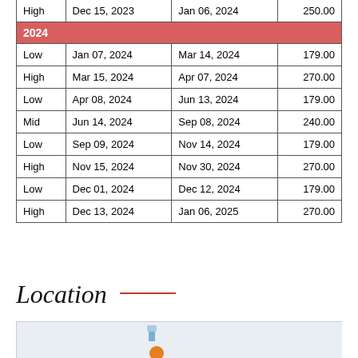|  |  |  |  |
| --- | --- | --- | --- |
| High | Dec 15, 2023 | Jan 06, 2024 | 250.00 |
| 2024 |  |  |  |
| Low | Jan 07, 2024 | Mar 14, 2024 | 179.00 |
| High | Mar 15, 2024 | Apr 07, 2024 | 270.00 |
| Low | Apr 08, 2024 | Jun 13, 2024 | 179.00 |
| Mid | Jun 14, 2024 | Sep 08, 2024 | 240.00 |
| Low | Sep 09, 2024 | Nov 14, 2024 | 179.00 |
| High | Nov 15, 2024 | Nov 30, 2024 | 270.00 |
| Low | Dec 01, 2024 | Dec 12, 2024 | 179.00 |
| High | Dec 13, 2024 | Jan 06, 2025 | 270.00 |
Location
[Figure (map): Map showing location with markers; partial view showing Oakwater Resort label]